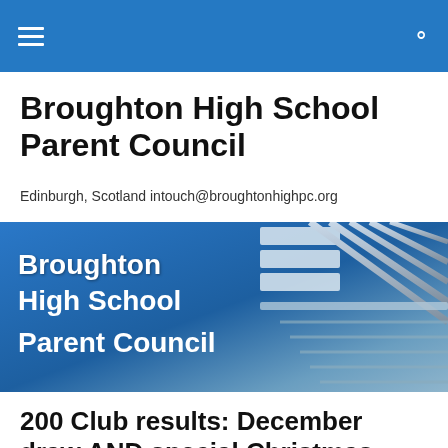Broughton High School Parent Council
Edinburgh, Scotland intouch@broughtonhighpc.org
[Figure (illustration): Banner image for Broughton High School Parent Council with white bold text on a blue/grey background with architectural detail (railings/stairs)]
200 Club results: December draw AND special Christmas draw!